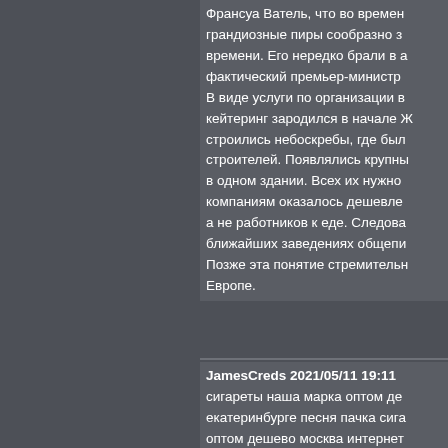Франсуа Ватель, что во времен грандиозные пиры сообразно з времени. Его нередко брали в а фактический премьер-министр В виде услуги по организации в кейтеринг зародился в начале Ж строились небоскребы, где был строителей. Появлялись крупны в одном здании. Всех их нужно компаниям оказалось дешевле а не работников к еде. Следова ближайших заведениях общепи Позже эта понятие стремительн Европе.
JamesCreds 2021/05/11 19:11 сигареты наша марка оптом де екатеринбурге песня пачка сига оптом дешево москва интернет одноразовые купить в воронеже табак для кальянов оптом спб к дешево казань длинный мундш